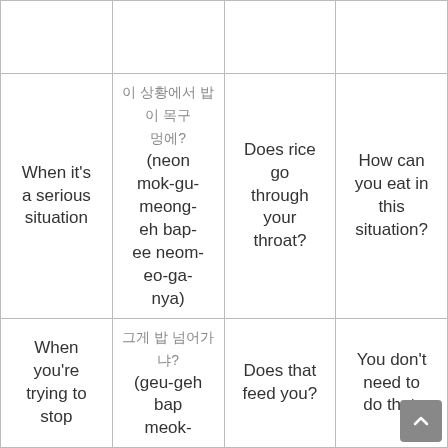|  |  |  |  |
| When it's a serious situation | 이 상황에서 밥이 목구멍에 넘어가냐?
(neon mok-gu-meong-eh bap-ee neom-eo-ga-nya) | Does rice go through your throat? | How can you eat in this situation? |
| When you're trying to stop | 그게 밥이 넘어가냐?
(geu-geh bap meok- | Does that feed you? | You don't need to do that. |